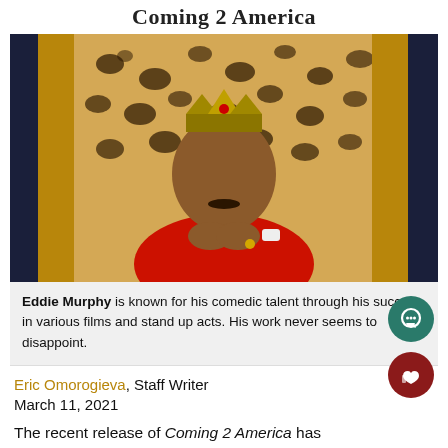Coming 2 America
[Figure (photo): Eddie Murphy dressed in a red and gold ornate robe, wearing a crown, seated on a leopard-print throne with gold decorative frame, clasping his hands together]
Eddie Murphy is known for his comedic talent through his success in various films and stand up acts. His work never seems to disappoint.
Eric Omorogieva, Staff Writer
March 11, 2021
The recent release of Coming 2 America has